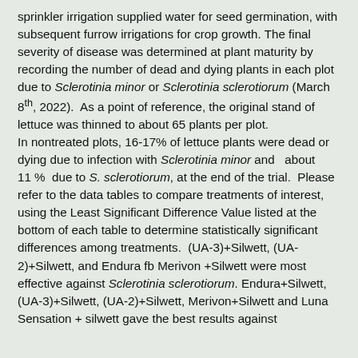sprinkler irrigation supplied water for seed germination, with subsequent furrow irrigations for crop growth. The final severity of disease was determined at plant maturity by recording the number of dead and dying plants in each plot due to Sclerotinia minor or Sclerotinia sclerotiorum (March 8th, 2022).  As a point of reference, the original stand of lettuce was thinned to about 65 plants per plot.
In nontreated plots, 16-17% of lettuce plants were dead or dying due to infection with Sclerotinia minor and  about 11 %  due to S. sclerotiorum, at the end of the trial.  Please refer to the data tables to compare treatments of interest, using the Least Significant Difference Value listed at the bottom of each table to determine statistically significant differences among treatments.  (UA-3)+Silwett, (UA-2)+Silwett, and Endura fb Merivon +Silwett were most effective against Sclerotinia sclerotiorum. Endura+Silwett, (UA-3)+Silwett, (UA-2)+Silwett, Merivon+Silwett and Luna Sensation + silwett gave the best results against